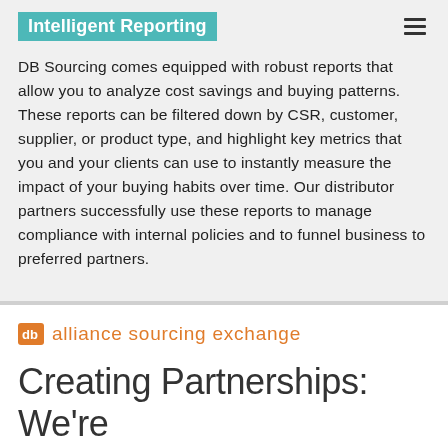Intelligent Reporting
DB Sourcing comes equipped with robust reports that allow you to analyze cost savings and buying patterns. These reports can be filtered down by CSR, customer, supplier, or product type, and highlight key metrics that you and your clients can use to instantly measure the impact of your buying habits over time. Our distributor partners successfully use these reports to manage compliance with internal policies and to funnel business to preferred partners.
[Figure (logo): Alliance Sourcing Exchange logo with orange 'db' icon and orange text 'alliance sourcing exchange']
Creating Partnerships: We’re Strongest Together
Customers and brands count on distributors to help them